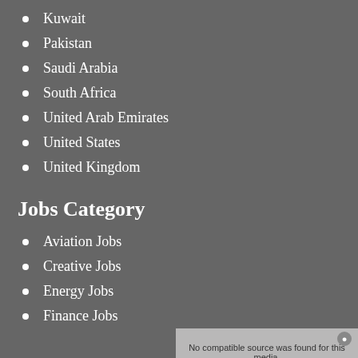Kuwait
Pakistan
Saudi Arabia
South Africa
United Arab Emirates
United States
United Kingdom
Jobs Category
Aviation Jobs
Creative Jobs
Energy Jobs
Finance Jobs
[Figure (photo): An advertisement showing 'Now Hiring! Apply Now.' with a video overlay message reading 'No compatible source was found for this media.']